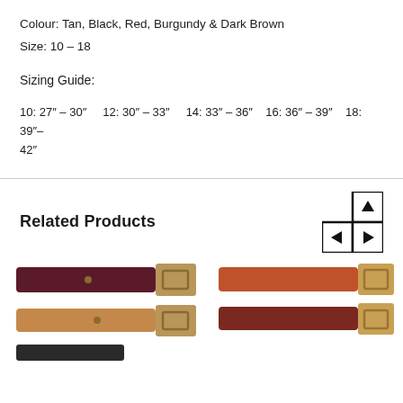Colour: Tan, Black, Red, Burgundy & Dark Brown
Size: 10 – 18
Sizing Guide:
10: 27″ – 30″   12: 30″ – 33″   14: 33″ – 36″   16: 36″ – 39″   18: 39″– 42″
Related Products
[Figure (screenshot): Navigation arrows icon with four directional arrows in a grid layout]
[Figure (photo): Two stacked leather belts — burgundy/dark brown on top, tan on bottom — with gold buckles on right side]
[Figure (photo): Two stacked leather belts — red/brown on top, dark brown on bottom — with gold buckles on right side]